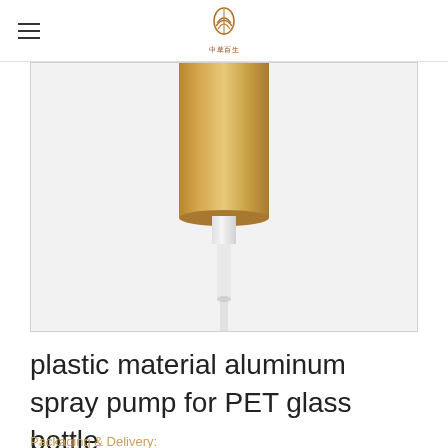[Logo: brand icon with Chinese characters]
[Figure (photo): Gold/champagne colored aluminum spray pump dispenser with white plastic tube extension, shown against a light gray background. The cylindrical gold pump body is at the top, with a narrow white plastic neck and tube extending downward.]
plastic material aluminum spray pump for PET glass bottle
Packaging & Delivery: